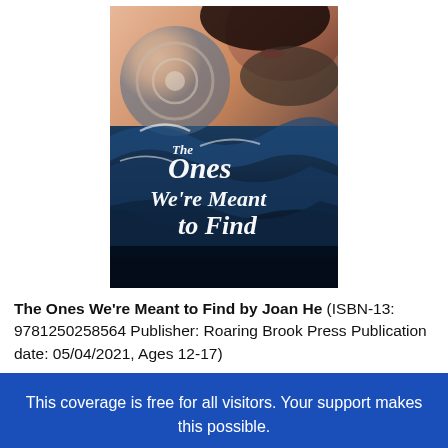[Figure (illustration): Book cover of 'The Ones We're Meant to Find' by Joan He. Shows a young woman's face partially visible at the top, dark ocean waves, and white script text reading 'THE ONES WE'RE MEANT TO FIND' on a dark dramatic background.]
The Ones We're Meant to Find by Joan He (ISBN-13: 9781250258564 Publisher: Roaring Brook Press Publication date: 05/04/2021, Ages 12-17)
This coverage is free for all visitors. Your support makes this possible.
SUBSCRIBE